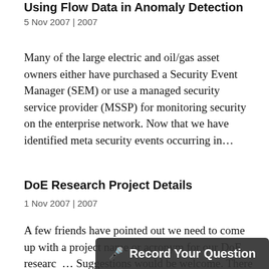Using Flow Data in Anomaly Detection
5 Nov 2007 | 2007
Many of the large electric and oil/gas asset owners either have purchased a Security Event Manager (SEM) or use a managed security service provider (MSSP) for monitoring security on the enterprise network. Now that we have identified meta security events occurring in...
DoE Research Project Details
1 Nov 2007 | 2007
A few friends have pointed out we need to come up with a project name or acronym for our DoE research... Suggestions would be welcome. There are